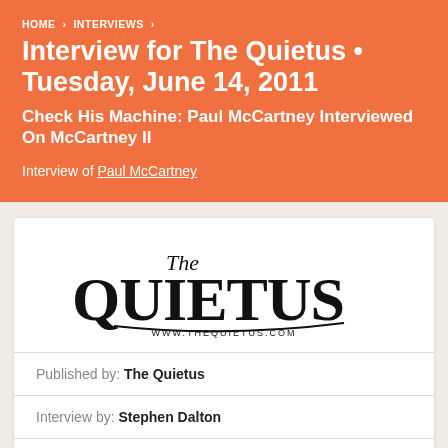HOME › INTERVIEWS ›
Interview for The Quietus • Tuesday, June 14, 2011
Check His Machine: Paul McCartney Interviewed On McCartney II
Interview of Paul McCartney
[Figure (logo): The Quietus logo with text WWW.THEQUIETUS.COM]
Published by: The Quietus
Interview by: Stephen Dalton
Read interview on The Quietus [external link icon]